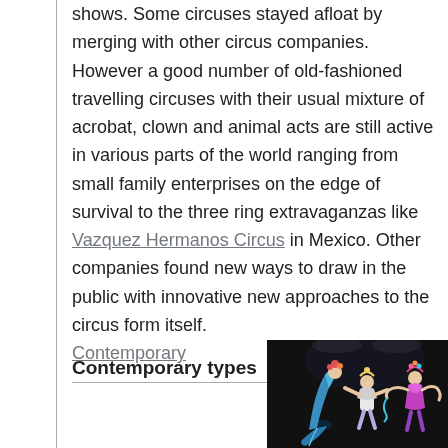shows. Some circuses stayed afloat by merging with other circus companies. However a good number of old-fashioned travelling circuses with their usual mixture of acrobat, clown and animal acts are still active in various parts of the world ranging from small family enterprises on the edge of survival to the three ring extravaganzas like Vazquez Hermanos Circus in Mexico. Other companies found new ways to draw in the public with innovative new approaches to the circus form itself.
Contemporary types
Contemporary
[Figure (photo): Circus performers in colorful costumes on a dark stage, appearing to be acrobats or dancers in an artistic contemporary circus performance.]